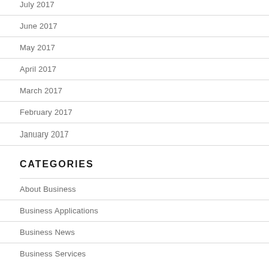July 2017
June 2017
May 2017
April 2017
March 2017
February 2017
January 2017
CATEGORIES
About Business
Business Applications
Business News
Business Services